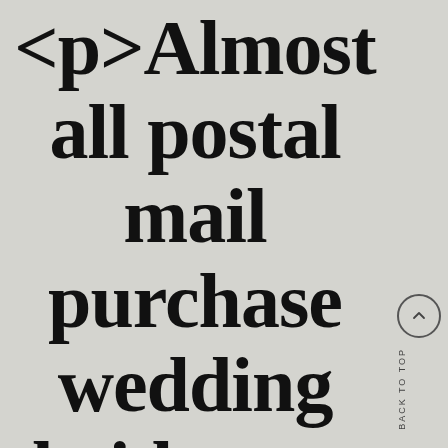<p>Almost all postal mail purchase wedding brides are usually G...
BACK TO TOP